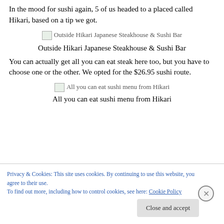In the mood for sushi again, 5 of us headed to a placed called Hikari, based on a tip we got.
[Figure (photo): Broken/placeholder image icon with alt text: Outside Hikari Japanese Steakhouse & Sushi Bar]
Outside Hikari Japanese Steakhouse & Sushi Bar
You can actually get all you can eat steak here too, but you have to choose one or the other. We opted for the $26.95 sushi route.
[Figure (photo): Broken/placeholder image icon with alt text: All you can eat sushi menu from Hikari]
All you can eat sushi menu from Hikari
Privacy & Cookies: This site uses cookies. By continuing to use this website, you agree to their use.
To find out more, including how to control cookies, see here: Cookie Policy